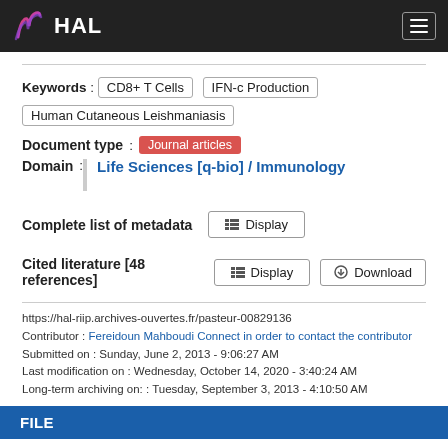HAL
Keywords : CD8+ T Cells | IFN-c Production | Human Cutaneous Leishmaniasis
Document type : Journal articles
Domain : Life Sciences [q-bio] / Immunology
Complete list of metadata  Display
Cited literature [48 references]  Display  Download
https://hal-riip.archives-ouvertes.fr/pasteur-00829136
Contributor : Fereidoun Mahboudi Connect in order to contact the contributor
Submitted on : Sunday, June 2, 2013 - 9:06:27 AM
Last modification on : Wednesday, October 14, 2020 - 3:40:24 AM
Long-term archiving on: : Tuesday, September 3, 2013 - 4:10:50 AM
FILE